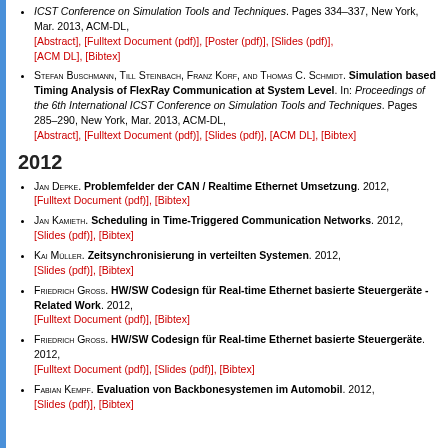ICST Conference on Simulation Tools and Techniques. Pages 334–337, New York, Mar. 2013, ACM-DL, [Abstract], [Fulltext Document (pdf)], [Poster (pdf)], [Slides (pdf)], [ACM DL], [Bibtex]
Stefan Buschmann, Till Steinbach, Franz Korf, and Thomas C. Schmidt. Simulation based Timing Analysis of FlexRay Communication at System Level. In: Proceedings of the 6th International ICST Conference on Simulation Tools and Techniques. Pages 285–290, New York, Mar. 2013, ACM-DL, [Abstract], [Fulltext Document (pdf)], [Slides (pdf)], [ACM DL], [Bibtex]
2012
Jan Depke. Problemfelder der CAN / Realtime Ethernet Umsetzung. 2012, [Fulltext Document (pdf)], [Bibtex]
Jan Kamieth. Scheduling in Time-Triggered Communication Networks. 2012, [Slides (pdf)], [Bibtex]
Kai Müller. Zeitsynchronisierung in verteilten Systemen. 2012, [Slides (pdf)], [Bibtex]
Friedrich Gross. HW/SW Codesign für Real-time Ethernet basierte Steuergeräte - Related Work. 2012, [Fulltext Document (pdf)], [Bibtex]
Friedrich Gross. HW/SW Codesign für Real-time Ethernet basierte Steuergeräte. 2012, [Fulltext Document (pdf)], [Slides (pdf)], [Bibtex]
Fabian Kempf. Evaluation von Backbonesystemen im Automobil. 2012, [Slides (pdf)], [Bibtex]